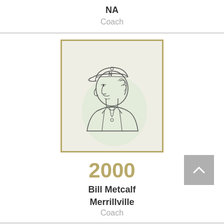NA
Coach
[Figure (illustration): Line drawing illustration of a man wearing a baseball cap, viewed from the side, in a coaching jacket. Rendered in minimal ink lines on a light greenish-white background, framed with a gold/olive border.]
2000
Bill Metcalf
Merrillville
Coach